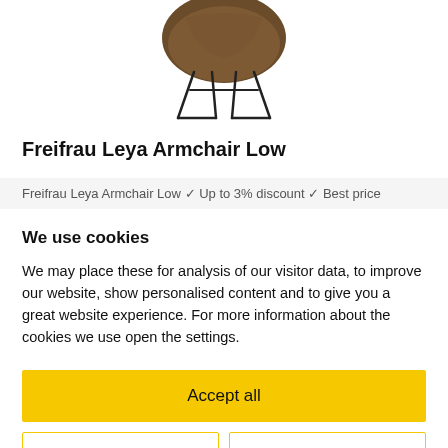[Figure (photo): Partial product photo of Freifrau Leya Armchair Low — rounded brown seat shell on black wire sled base, viewed from slightly above, cropped at top]
Freifrau Leya Armchair Low
Freifrau Leya Armchair Low ✓ Up to 3% discount ✓ Best price
We use cookies
We may place these for analysis of our visitor data, to improve our website, show personalised content and to give you a great website experience. For more information about the cookies we use open the settings.
Accept all
Deny
No, adjust